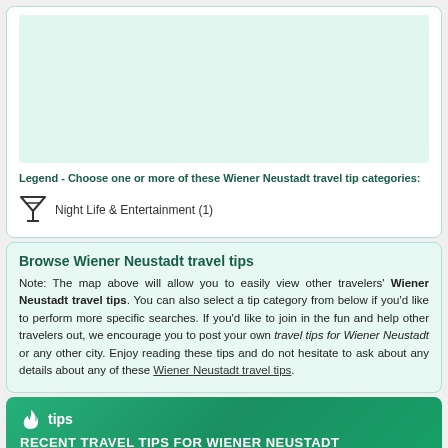[Figure (other): Map placeholder area showing Wiener Neustadt travel tip locations]
Legend - Choose one or more of these Wiener Neustadt travel tip categories:
Night Life & Entertainment (1)
Browse Wiener Neustadt travel tips
Note: The map above will allow you to easily view other travelers' Wiener Neustadt travel tips. You can also select a tip category from below if you'd like to perform more specific searches. If you'd like to join in the fun and help other travelers out, we encourage you to post your own travel tips for Wiener Neustadt or any other city. Enjoy reading these tips and do not hesitate to ask about any details about any of these Wiener Neustadt travel tips.
tips RECENT TRAVEL TIPS FOR WIENER NEUSTADT